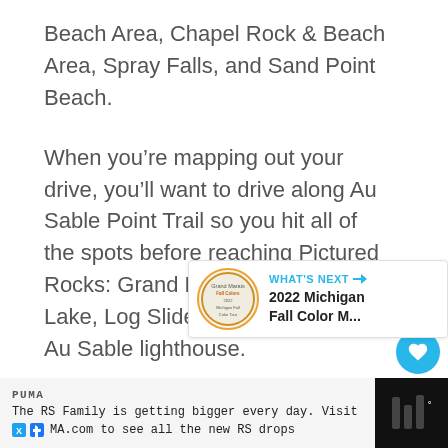Beach Area, Chapel Rock & Beach Area, Spray Falls, and Sand Point Beach.
When you’re mapping out your drive, you’ll want to drive along Au Sable Point Trail so you hit all of the spots before reaching Pictured Rocks: Grand Marais, Grand Sable Lake, Log Slide Overlook, and the Au Sable lighthouse.
[Figure (infographic): What's Next widget showing 2022 Michigan Fall Color M... with a circular badge/seal on the left]
[Figure (infographic): Advertisement bar at bottom: PUMA - The RS Family is getting bigger every day. Visit MA.com to see all the new RS drops]